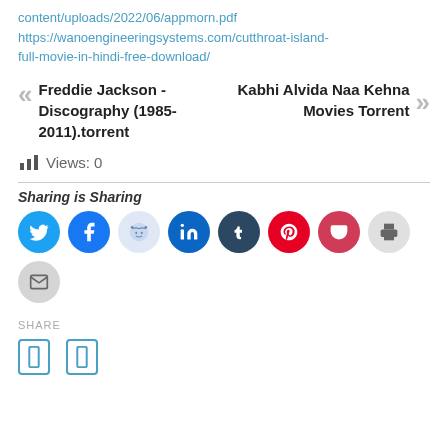content/uploads/2022/06/appmorn.pdf
https://wanoengineeringsystems.com/cutthroat-island-full-movie-in-hindi-free-download/
« Freddie Jackson - Discography (1985-2011).torrent
Kabhi Alvida Naa Kehna Movies Torrent »
Views: 0
Sharing is Sharing
[Figure (infographic): Row of social sharing icon buttons: Twitter (blue), Facebook (blue), Reddit (light blue), LinkedIn (dark blue), Tumblr (dark navy), Pinterest (red), Pocket (dark red), Print (gray), Email (gray)]
SHARE
[Figure (infographic): Two small blue rectangle/bracket icon buttons for sharing]